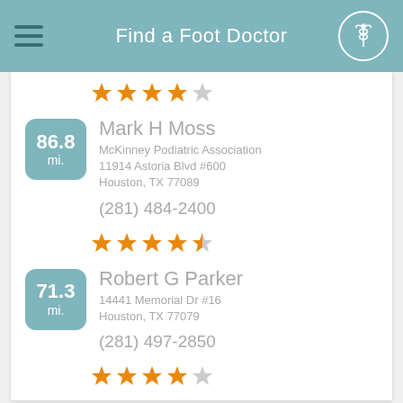Find a Foot Doctor
[Figure (other): 4 out of 5 orange stars rating]
Mark H Moss
McKinney Podiatric Association
11914 Astoria Blvd #600
Houston, TX 77089
(281) 484-2400
[Figure (other): 4.5 out of 5 orange stars rating]
Robert G Parker
14441 Memorial Dr #16
Houston, TX 77079
(281) 497-2850
[Figure (other): 4 out of 5 orange stars rating]